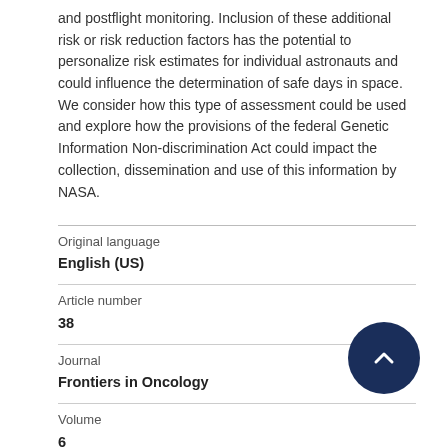and postflight monitoring. Inclusion of these additional risk or risk reduction factors has the potential to personalize risk estimates for individual astronauts and could influence the determination of safe days in space. We consider how this type of assessment could be used and explore how the provisions of the federal Genetic Information Non-discrimination Act could impact the collection, dissemination and use of this information by NASA.
| Original language | English (US) |
| Article number | 38 |
| Journal | Frontiers in Oncology |
| Volume | 6 |
| Issue number |  |